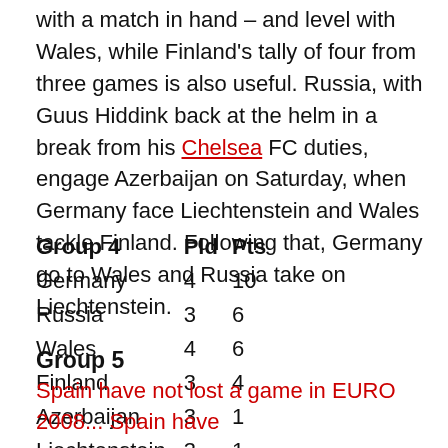with a match in hand – and level with Wales, while Finland's tally of four from three games is also useful. Russia, with Guus Hiddink back at the helm in a break from his Chelsea FC duties, engage Azerbaijan on Saturday, when Germany face Liechtenstein and Wales tackle Finland. Following that, Germany go to Wales and Russia take on Liechtenstein.
| Group 4 | Pld | Pts |
| --- | --- | --- |
| Germany | 4 | 10 |
| Russia | 3 | 6 |
| Wales | 4 | 6 |
| Finland | 3 | 4 |
| Azerbaijan | 3 | 1 |
| Liechtenstein | 3 | 1 |
Group 5
Spain have not lost a game in EURO 2008... Spain have...